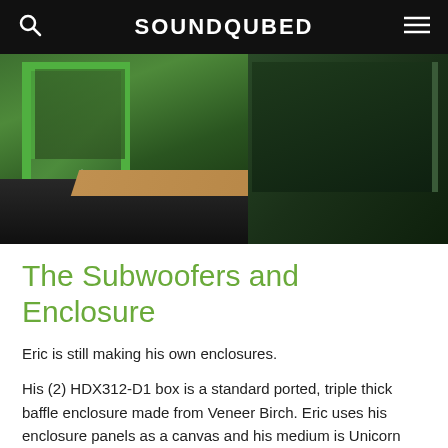SOUNDQUBED
[Figure (photo): Photo of a green wooden subwoofer enclosure with green painted frame, sitting on a wooden board. A triangular sticker is visible on the enclosure. Dark floor and background visible.]
The Subwoofers and Enclosure
Eric is still making his own enclosures.
His (2) HDX312-D1 box is a standard ported, triple thick baffle enclosure made from Veneer Birch. Eric uses his enclosure panels as a canvas and his medium is Unicorn Spit wood stain, spread with oil-based Polyurethane.
The enclosure is eye-catching and it's more than meets the